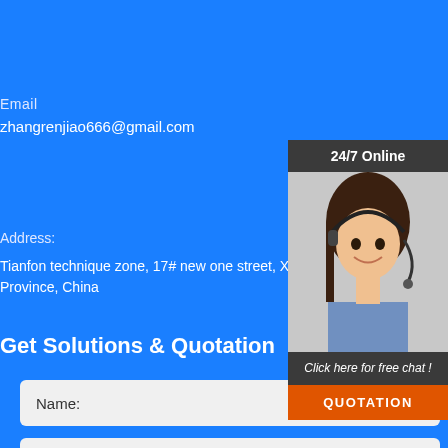Email
zhangrenjiao666@gmail.com
Address:
Tianfon technique zone, 17# new one street, Xinxi Province, China
Get Solutions & Quotation
[Figure (photo): Customer service representative with headset, smiling. Overlay panel with '24/7 Online' header, 'Click here for free chat!' text, and orange QUOTATION button.]
Name:
Email:
Please Enter Other Contact Information